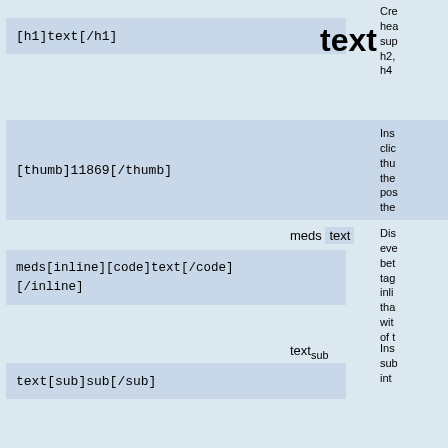[h1]text[/h1]
text
Cre
he
su
h2,
h4
[thumb]11869[/thumb]
Ins
clic
thu
the
po:
the
meds text
meds[inline][code]text[/code][/inline]
Dis
eve
be
tag
inli
tha
wit
of t
text sub
text[sub]sub[/sub]
Ins
sub
int